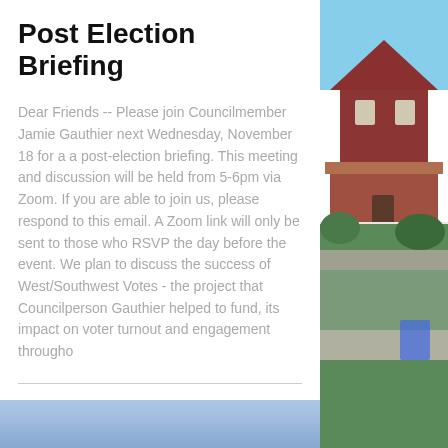Post Election Briefing
Dear Friends -- Please join Councilmember Jamie Gauthier next Wednesday, November 18 for a a post-election briefing. This meeting and discussion will be held from 5-6pm via Zoom. If you are able to join us, please respond to this email. A Zoom link will only be sent to those who RSVP the day before the event. We plan to discuss the success of West/Southwest Votes - the project that Councilperson Gauthier helped to fund, its impact on voter turnout and engagement througho
[Figure (photo): Photograph of residential houses with brick exterior and porches, trees and street visible]